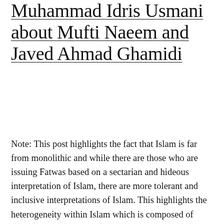Muhammad Idris Usmani about Mufti Naeem and Javed Ahmad Ghamidi
Note: This post highlights the fact that Islam is far from monolithic and while there are those who are issuing Fatwas based on a sectarian and hideous interpretation of Islam, there are more tolerant and inclusive interpretations of Islam. This highlights the heterogeneity within Islam which is composed of numerous sects and viewpoints that differ [...]